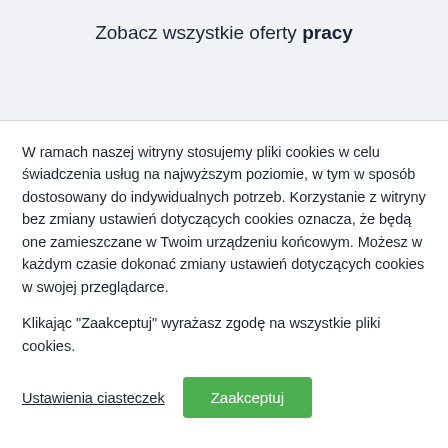Zobacz wszystkie oferty pracy
W ramach naszej witryny stosujemy pliki cookies w celu świadczenia usług na najwyższym poziomie, w tym w sposób dostosowany do indywidualnych potrzeb. Korzystanie z witryny bez zmiany ustawień dotyczących cookies oznacza, że będą one zamieszczane w Twoim urządzeniu końcowym. Możesz w każdym czasie dokonać zmiany ustawień dotyczących cookies w swojej przeglądarce.
Klikając "Zaakceptuj" wyrażasz zgodę na wszystkie pliki cookies.
Ustawienia ciasteczek
Zaakceptuj